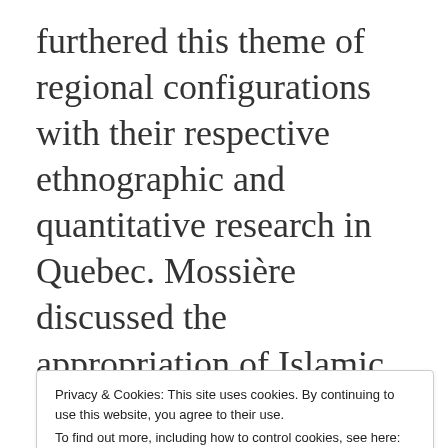furthered this theme of regional configurations with their respective ethnographic and quantitative research in Quebec. Mossière discussed the appropriation of Islamic signifiers among some otherwise nonreligious individuals, and how
Privacy & Cookies: This site uses cookies. By continuing to use this website, you agree to their use. To find out more, including how to control cookies, see here: Cookie Policy
Legault-Leclair's talk focused in